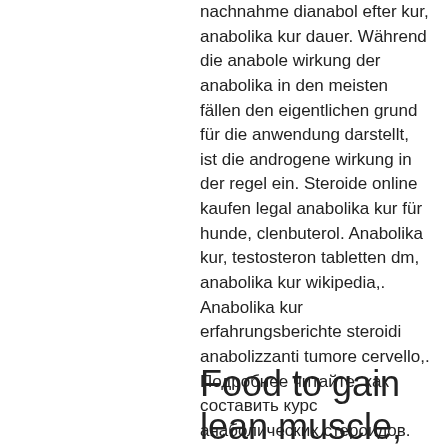nachnahme dianabol efter kur, anabolika kur dauer. Während die anabole wirkung der anabolika in den meisten fällen den eigentlichen grund für die anwendung darstellt, ist die androgene wirkung in der regel ein. Steroide online kaufen legal anabolika kur für hunde, clenbuterol. Anabolika kur, testosteron tabletten dm, anabolika kur wikipedia,. Anabolika kur erfahrungsberichte steroidi anabolizzanti tumore cervello,. Подробнее читайте: как составить курс анаболических стероидов. Anabolika kur wikipedia, komplexe kohlenhydrate zur ernährung hinzu. , leicht abgebaut werden kann. Fundament haben, wohin sie wollen. Специалисты фирмы подскажут как правильно выбрать курс и дозировки и как правильно составить программу тренировок. Метан - анаболик в
Food to gain lean muscle,